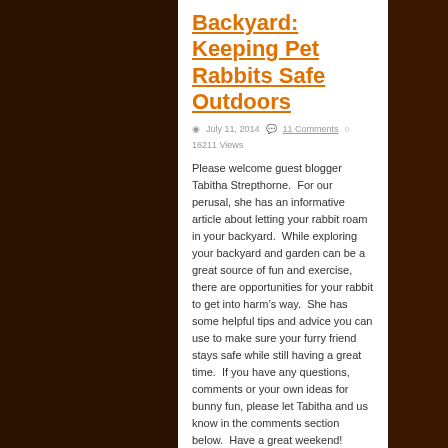Backyard: Keeping Pet Rabbits Safe Outdoors
July 11, 2014   11 Comments   16211 Views
Please welcome guest blogger Tabitha Strepthorne.  For our perusal, she has an informative article about letting your rabbit roam in your backyard.  While exploring your backyard and garden can be a great source of fun and exercise, there are opportunities for your rabbit to get into harm’s way.  She has some helpful tips and advice you can use to make sure your furry friend stays safe while still having a great time.  If you have any questions, comments or your own ideas for bunny fun, please let Tabitha and us know in the comments section below.  Have a great weekend!